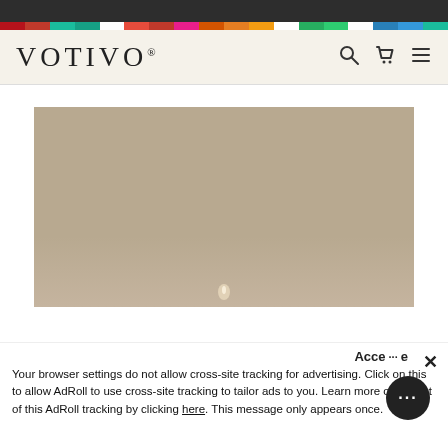VOTIVO®
[Figure (photo): Product photo of a Votivo candle against a warm taupe/beige background, with a faint candle flame visible near the bottom center.]
Acce... ×
Your browser settings do not allow cross-site tracking for advertising. Click on this to allow AdRoll to use cross-site tracking to tailor ads to you. Learn more or opt out of this AdRoll tracking by clicking here. This message only appears once.